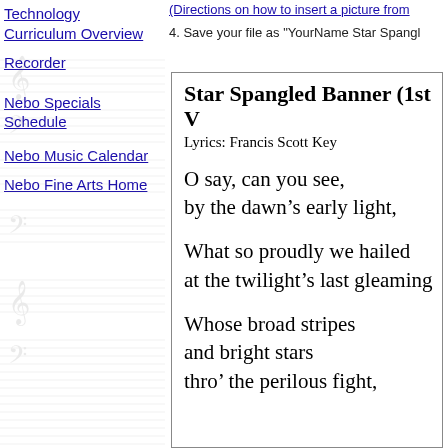Technology Curriculum Overview
Recorder
Nebo Specials Schedule
Nebo Music Calendar
Nebo Fine Arts Home
(Directions on how to insert a picture from
4. Save your file as "YourName Star Spangl
Star Spangled Banner (1st V
Lyrics: Francis Scott Key
O say, can you see,
by the dawn’s early light,
What so proudly we hailed
at the twilight’s last gleaming
Whose broad stripes
and bright stars
thro’ the perilous fight,